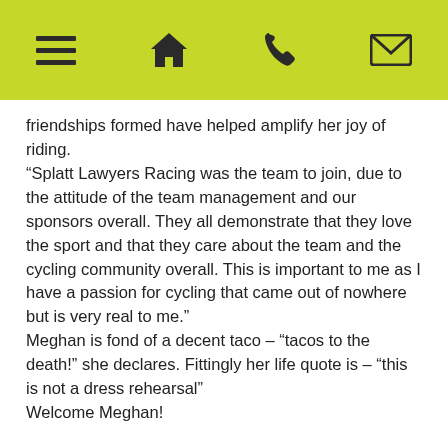[navigation icons: menu, home, phone, email]
friendships formed have helped amplify her joy of riding.
“Splatt Lawyers Racing was the team to join, due to the attitude of the team management and our sponsors overall. They all demonstrate that they love the sport and that they care about the team and the cycling community overall. This is important to me as I have a passion for cycling that came out of nowhere but is very real to me.” Meghan is fond of a decent taco – “tacos to the death!” she declares. Fittingly her life quote is – “this is not a dress rehearsal”
Welcome Meghan!